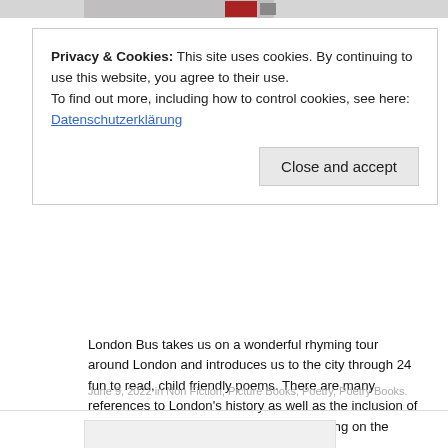[Figure (photo): Partial top strip of an image, appears to show a red vehicle or bus, mostly cropped]
Privacy & Cookies: This site uses cookies. By continuing to use this website, you agree to their use.
To find out more, including how to control cookies, see here:
Datenschutzerklärung
Close and accept
London Bus takes us on a wonderful rhyming tour around London and introduces us to the city through 24 fun to read, child friendly poems. There are many references to London's history as well as the inclusion of architectural and cultural aspects – travelling on the tube, drinking tea and rain!…
June 9, 2022 in Non Fiction, Picture Books, Poetry, Poetry Books.
[Figure (photo): Partial bottom image placeholder, appears to be a book cover image, mostly cut off at bottom of page]